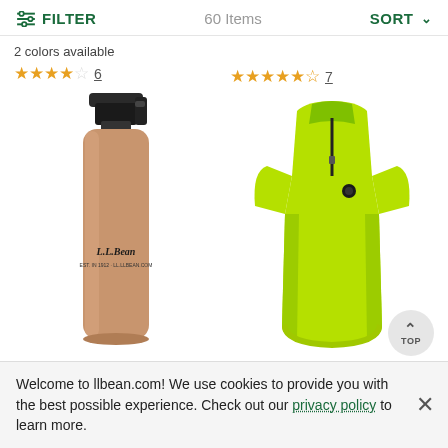FILTER   60 Items   SORT
2 colors available
★★★★☆ 6
★★★★★☆ 7
[Figure (photo): L.L.Bean tan/khaki insulated water bottle with black cap]
[Figure (photo): Neon yellow/green Pearl Izumi cycling jersey with zip front]
Welcome to llbean.com! We use cookies to provide you with the best possible experience. Check out our privacy policy to learn more.